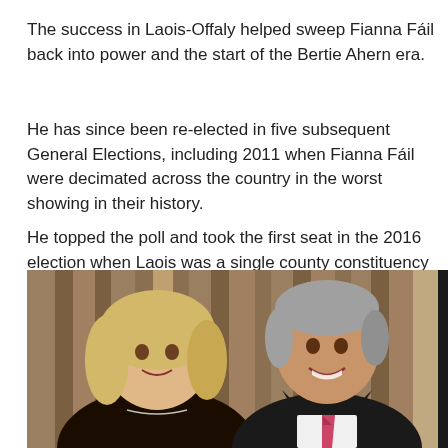The success in Laois-Offaly helped sweep Fianna Fáil back into power and the start of the Bertie Ahern era.
He has since been re-elected in five subsequent General Elections, including 2011 when Fianna Fáil were decimated across the country in the worst showing in their history.
He topped the poll and took the first seat in the 2016 election when Laois was a single county constituency for the only time.
[Figure (photo): A photo of two people, a woman with blonde hair on the left wearing a dark patterned top, and a man with grey hair on the right wearing a dark suit with a pink striped tie, both smiling. Background shows wooden curtain-like panels.]